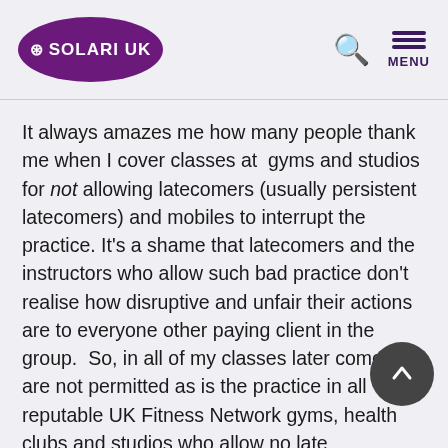SOLARI UK
It always amazes me how many people thank me when I cover classes at gyms and studios for not allowing latecomers (usually persistent latecomers) and mobiles to interrupt the practice. It's a shame that latecomers and the instructors who allow such bad practice don't realise how disruptive and unfair their actions are to everyone other paying client in the group. So, in all of my classes later comers are not permitted as is the practice in all reputable UK Fitness Network gyms, health clubs and studios who allow no late admittance for classes.
The exceptions to this are those who I've worked with on a regular basis or who are advanced enough to know exactly how to warm themselves up, without needing my coaching. In these cases if they are late, they will be allowed to join because the health & safety element can be fulfilled, however, my regulars are never late.